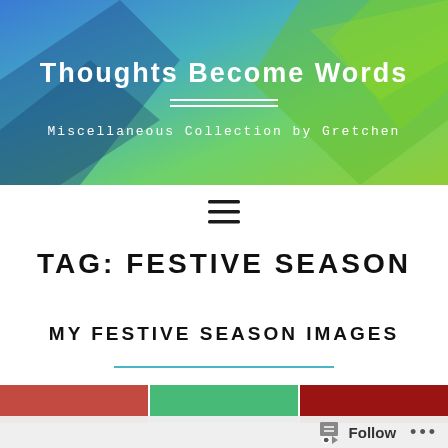[Figure (illustration): Blog header banner with blue-to-green gradient background and geometric angular shapes. Contains blog title 'Thoughts Become Words' and subtitle 'Miscellaneous Collection by Gretchen' with double horizontal rule divider.]
Thoughts Become Words
Miscellaneous Collection by Gretchen
[Figure (other): Hamburger menu icon with three horizontal lines]
TAG: FESTIVE SEASON
MY FESTIVE SEASON IMAGES
[Figure (photo): Partial image strip at bottom showing three partial photos: red/floral image, green image, and dark red image]
Follow ...